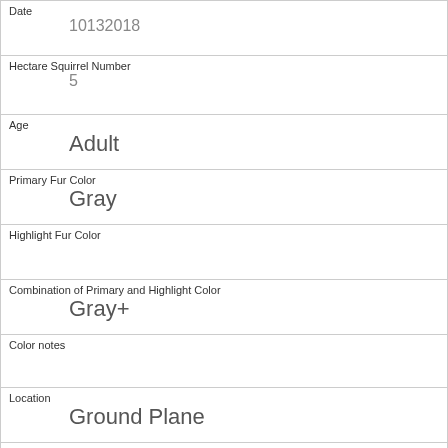| Field | Value |
| --- | --- |
| Date | 10132018 |
| Hectare Squirrel Number | 5 |
| Age | Adult |
| Primary Fur Color | Gray |
| Highlight Fur Color |  |
| Combination of Primary and Highlight Color | Gray+ |
| Color notes |  |
| Location | Ground Plane |
| Above Ground Sighter Measurement | FALSE |
| Specific Location |  |
| Running |  |